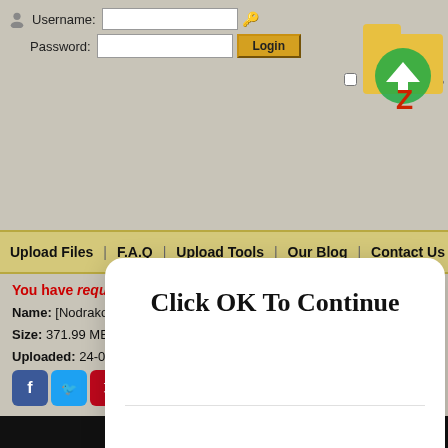[Figure (screenshot): Website login form with Username and Password fields, Login button, Remember Me checkbox, and Forgot Password link. Navigation bar with Upload Files, F.A.Q, Upload Tools, Our Blog, Contact Us. A modal dialog showing 'Click OK To Continue' with an OK button. Below: file info showing Name, Size, Uploaded date. Social sharing icons. Video area at bottom.]